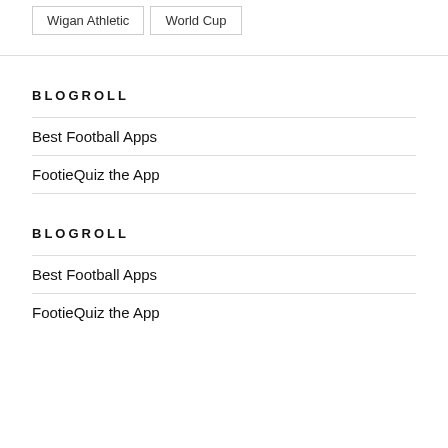Wigan Athletic
World Cup
BLOGROLL
Best Football Apps
FootieQuiz the App
BLOGROLL
Best Football Apps
FootieQuiz the App